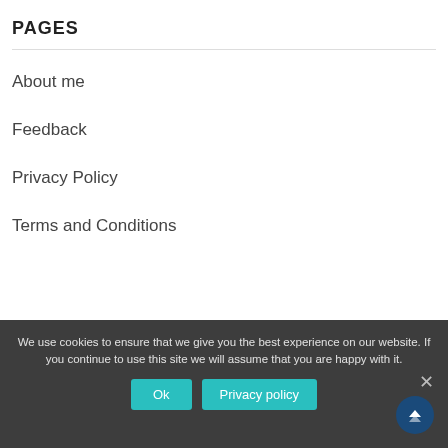PAGES
About me
Feedback
Privacy Policy
Terms and Conditions
We use cookies to ensure that we give you the best experience on our website. If you continue to use this site we will assume that you are happy with it.